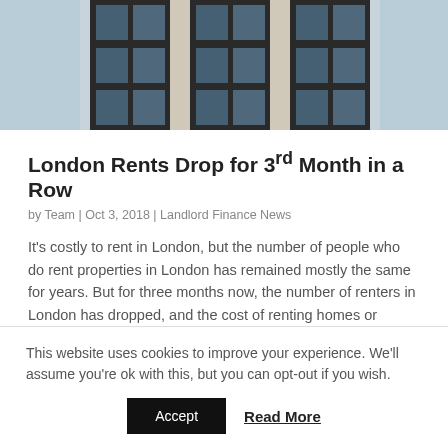[Figure (photo): Photograph of a modern multi-story building facade with dark-framed windows and light-colored panels, viewed from below at an angle.]
London Rents Drop for 3rd Month in a Row
by Team | Oct 3, 2018 | Landlord Finance News
It's costly to rent in London, but the number of people who do rent properties in London has remained mostly the same for years. But for three months now, the number of renters in London has dropped, and the cost of renting homes or businesses has risen with it....
This website uses cookies to improve your experience. We'll assume you're ok with this, but you can opt-out if you wish.